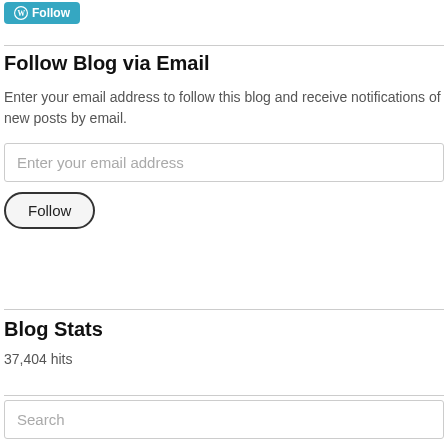[Figure (other): WordPress Follow button (teal background with W icon and Follow text)]
Follow Blog via Email
Enter your email address to follow this blog and receive notifications of new posts by email.
Enter your email address
Follow
Blog Stats
37,404 hits
Search